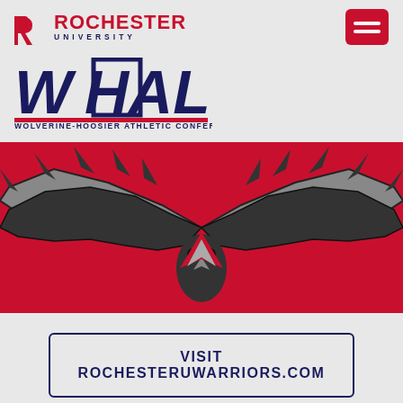[Figure (logo): Rochester University logo with stylized R in red and text ROCHESTER UNIVERSITY]
[Figure (logo): WHAC Wolverine-Hoosier Athletic Conference logo in blue and red]
[Figure (illustration): Rochester University Warriors mascot eagle with wings spread on red background]
VISIT ROCHESTERUWARRIORS.COM